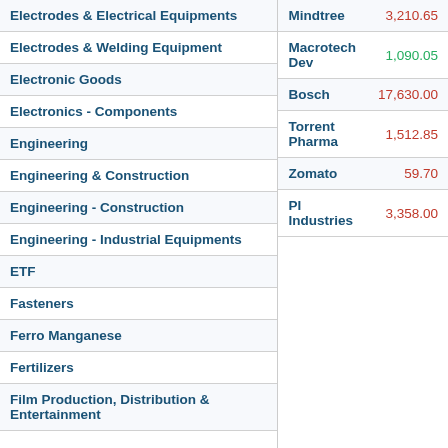| Sector |
| --- |
| Electrodes & Electrical Equipments |
| Electrodes & Welding Equipment |
| Electronic Goods |
| Electronics - Components |
| Engineering |
| Engineering & Construction |
| Engineering - Construction |
| Engineering - Industrial Equipments |
| ETF |
| Fasteners |
| Ferro Manganese |
| Fertilizers |
| Film Production, Distribution & Entertainment |
| Stock | Price |
| --- | --- |
| Mindtree | 3,210.65 |
| Macrotech Dev | 1,090.05 |
| Bosch | 17,630.00 |
| Torrent Pharma | 1,512.85 |
| Zomato | 59.70 |
| PI Industries | 3,358.00 |